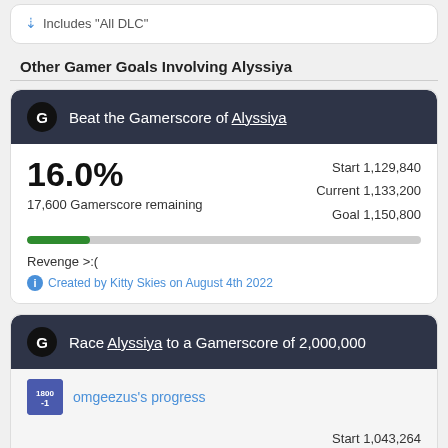Includes "All DLC"
Other Gamer Goals Involving Alyssiya
Beat the Gamerscore of Alyssiya
16.0%
17,600 Gamerscore remaining
Start 1,129,840
Current 1,133,200
Goal 1,150,800
Revenge >:(
Created by Kitty Skies on August 4th 2022
Race Alyssiya to a Gamerscore of 2,000,000
omgeezus's progress
Start 1,043,264